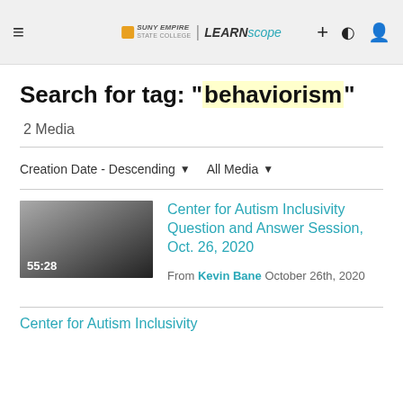SUNY EMPIRE | LEARNscape
Search for tag: "behaviorism"
2 Media
Creation Date - Descending   All Media
[Figure (screenshot): Video thumbnail showing gradient from light gray to dark gray with duration 55:28]
Center for Autism Inclusivity Question and Answer Session, Oct. 26, 2020
From Kevin Bane October 26th, 2020
Center for Autism Inclusivity